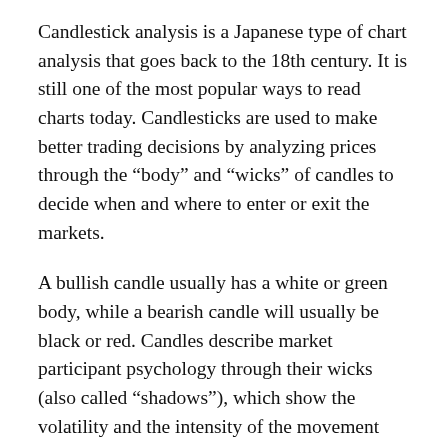Candlestick analysis is a Japanese type of chart analysis that goes back to the 18th century. It is still one of the most popular ways to read charts today. Candlesticks are used to make better trading decisions by analyzing prices through the “body” and “wicks” of candles to decide when and where to enter or exit the markets.
A bullish candle usually has a white or green body, while a bearish candle will usually be black or red. Candles describe market participant psychology through their wicks (also called “shadows”), which show the volatility and the intensity of the movement through the highest and lowest level reached. The longer a candle, the more intense the buying/selling pressure. Conversely, the shorter the candlestick, the more indecisive the market.
Candlestick analysis is quite an effective way to